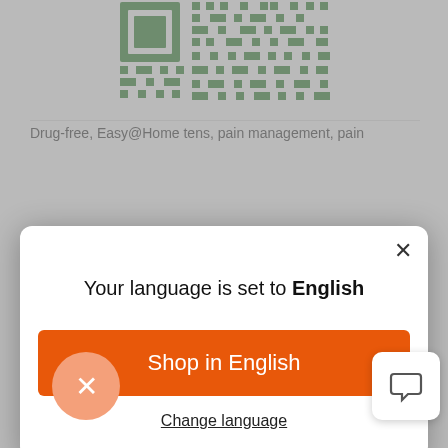[Figure (other): Partial QR code visible at top of page background]
Drug-free, Easy@Home tens, pain management, pain
[Figure (screenshot): Modal dialog popup with white background and rounded corners showing language selection]
Your language is set to English
Shop in English
Change language
> Soulagement de la douleur et douleur chronique (11)
> Douleur chronique (1)
> Maux de dos, douleurs articulaires et douleurs musculaires (1)